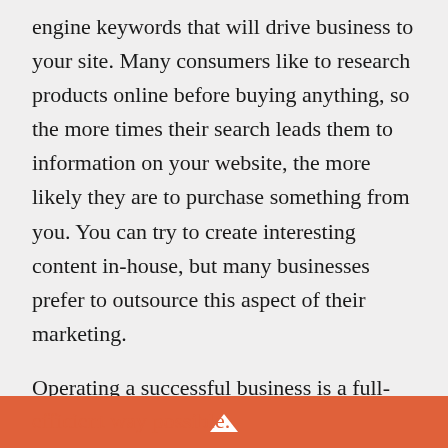engine keywords that will drive business to your site. Many consumers like to research products online before buying anything, so the more times their search leads them to information on your website, the more likely they are to purchase something from you. You can try to create interesting content in-house, but many businesses prefer to outsource this aspect of their marketing.
Operating a successful business is a full-time job with so many moving parts that sometimes it's hard to know what to do first. Start with your goals and then focus all your energy on achieving those goals in the most efficient way possible.